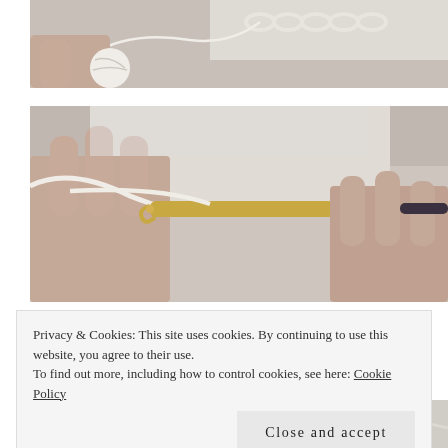[Figure (photo): Hands working with white yarn, crocheting a chain stitch, close-up view from above on a light background]
[Figure (photo): Hands holding a gold/brass crochet hook with white yarn on a light background, close-up tutorial photo]
Privacy & Cookies: This site uses cookies. By continuing to use this website, you agree to their use.
To find out more, including how to control cookies, see here: Cookie Policy
Close and accept
[Figure (photo): Partial view of hands with crochet work, bottom of page, cropped]